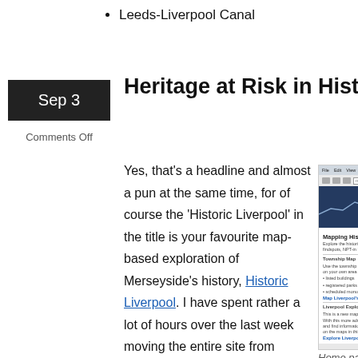Leeds-Liverpool Canal
Heritage at Risk in Historic Liver…
Sep 3
Comments Off
[Figure (screenshot): Screenshot of the Historic Liverpool website showing the Mapping Historic Liverpool homepage with navigation, wave graphic, Township Map and Liverpool Explorer sections.]
Home page screen…
Yes, that's a headline and almost a pun at the same time, for of course the 'Historic Liverpool' in the title is your favourite map-based exploration of Merseyside's history, Historic Liverpool. I have spent rather a lot of hours over the last week moving the entire site from lovingly hand-crafted HTML to Drupal, an open source (Free) content management system (CMS). I can spend less time on moving bits of the site rou…